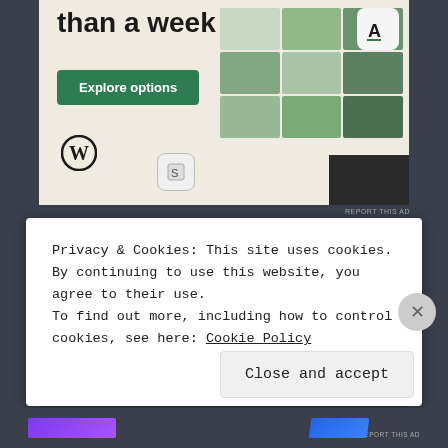[Figure (screenshot): Advertisement banner for a website builder service showing 'than a week' heading, Explore options button, WordPress logo, and phone mockup with food images]
REPORT THIS AD
By rayawambui in Kenyan Mind, Poetry | December 2, 2015 | 590 Words | 3 Comments
Privacy & Cookies: This site uses cookies. By continuing to use this website, you agree to their use.
To find out more, including how to control cookies, see here: Cookie Policy
Close and accept